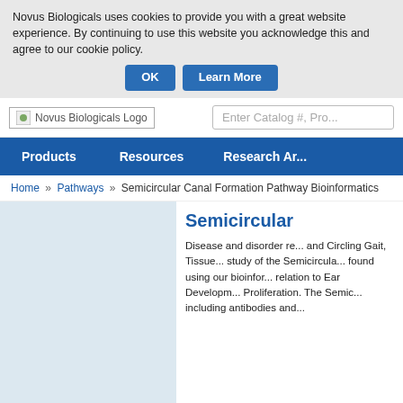Novus Biologicals uses cookies to provide you with a great website experience. By continuing to use this website you acknowledge this and agree to our cookie policy.
OK   Learn More
[Figure (logo): Novus Biologicals Logo]
Enter Catalog #, Pro...
Products   Resources   Research Ar...
Home » Pathways » Semicircular Canal Formation Pathway Bioinformatics
Semicircular
Disease and disorder re... and Circling Gait, Tissue... study of the Semicircula... found using our bioinfor... relation to Ear Developm... Proliferation. The Semic... including antibodies and...
Submit your image related to Pathways to be featured!
Semicircular Canal For...